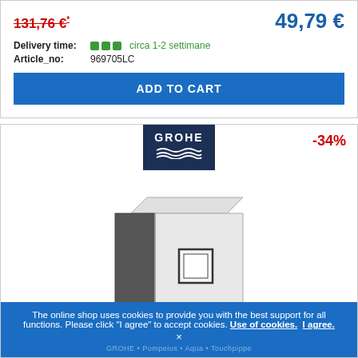131,76 €* (strikethrough old price)
49,79 €
Delivery time: circa 1-2 settimane
Article_no: 969705LC
ADD TO CART
[Figure (logo): GROHE brand logo on dark navy background with wave symbol]
-34%
[Figure (photo): GROHE product - a square brushed steel/chrome bathroom accessory unit with a button on the front]
The online shop uses cookies to provide you with the best support for all functions. Please click "I agree" to accept cookies. Use of cookies. I agree.